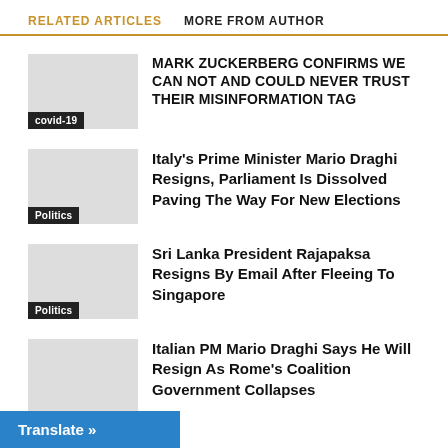RELATED ARTICLES   MORE FROM AUTHOR
MARK ZUCKERBERG CONFIRMS WE CAN NOT AND COULD NEVER TRUST THEIR MISINFORMATION TAG
Italy's Prime Minister Mario Draghi Resigns, Parliament Is Dissolved Paving The Way For New Elections
Sri Lanka President Rajapaksa Resigns By Email After Fleeing To Singapore
Italian PM Mario Draghi Says He Will Resign As Rome's Coalition Government Collapses
Translate »